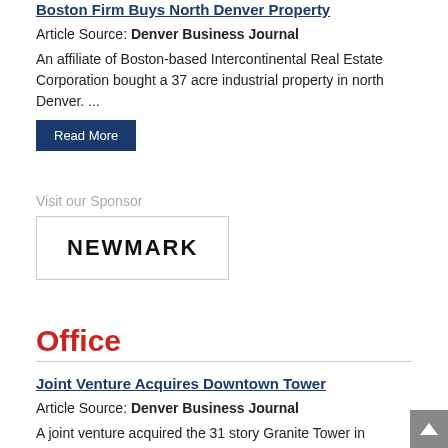Boston Firm Buys North Denver Property
Article Source: Denver Business Journal
An affiliate of Boston-based Intercontinental Real Estate Corporation bought a 37 acre industrial property in north Denver. ...
Read More
Visit our Sponsor
[Figure (logo): NEWMARK logo in black bold text inside a rectangular border]
Office
Joint Venture Acquires Downtown Tower
Article Source: Denver Business Journal
A joint venture acquired the 31 story Granite Tower in downtown Denver for about $203.5 million. ...
Read More